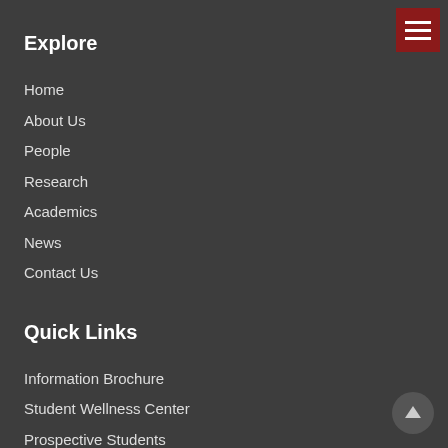Explore
Home
About Us
People
Research
Academics
News
Contact Us
Quick Links
Information Brochure
Student Wellness Center
Prospective Students
Prospective Faculty
Open Positions
Visitors